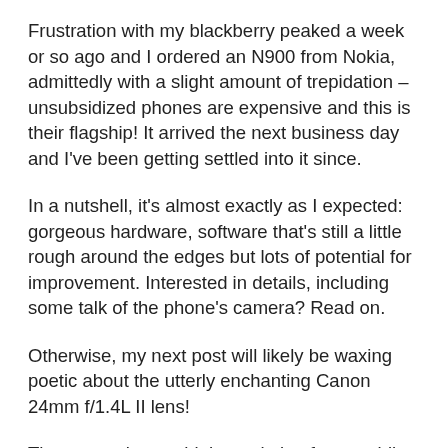Frustration with my blackberry peaked a week or so ago and I ordered an N900 from Nokia, admittedly with a slight amount of trepidation – unsubsidized phones are expensive and this is their flagship! It arrived the next business day and I've been getting settled into it since.
In a nutshell, it's almost exactly as I expected: gorgeous hardware, software that's still a little rough around the edges but lots of potential for improvement. Interested in details, including some talk of the phone's camera? Read on.
Otherwise, my next post will likely be waxing poetic about the utterly enchanting Canon 24mm f/1.4L II lens!
The screen is very high resolution for a mobile device (800×480), sharp, and beautiful. It uses a different touch screen technology than the iPhone does so you don't get multitouch but it's still accurate and responsive.